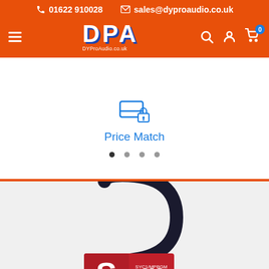📞 01622 910028 ✉ sales@dyproaudio.co.uk
[Figure (logo): DPA DYProAudio.co.uk logo in white on orange background]
Price Match
[Figure (photo): Stagg 1M High Quality Y Cable product image showing a black cable coiled with red branded label featuring the Stagg S logo]